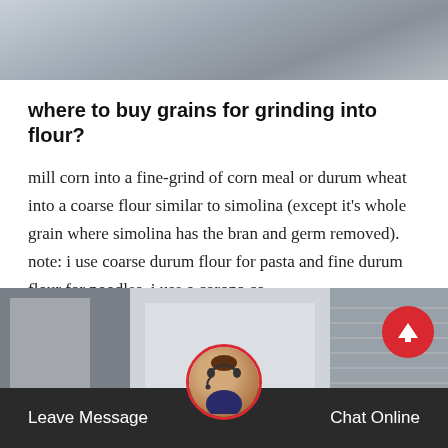[Figure (photo): Top banner photo of an industrial/warehouse building with gray tones]
where to buy grains for grinding into flour?
mill corn into a fine-grind of corn meal or durum wheat into a coarse flour similar to simolina (except it's whole grain where simolina has the bran and germ removed). note: i use coarse durum flour for pasta and fine durum flour for noodles. i use a corona co…
[Figure (other): Red 'Get Price' button]
[Figure (photo): Bottom banner photo of an industrial/warehouse building exterior]
Leave Message   Chat Online